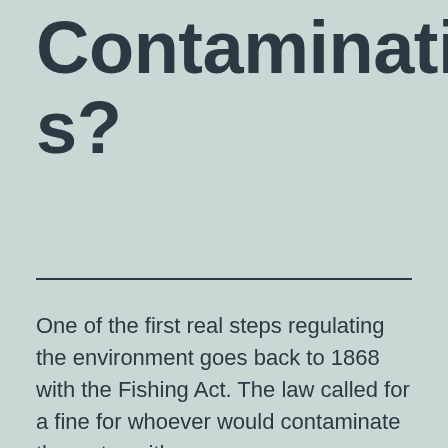Contaminations?
One of the first real steps regulating the environment goes back to 1868 with the Fishing Act. The law called for a fine for whoever would contaminate the water with